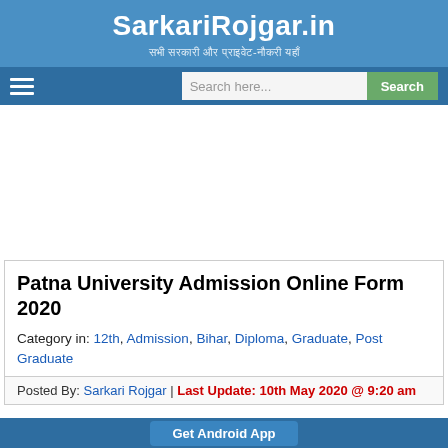SarkariRojgar.in
सभी सरकारी और प्राइवेट-नौकरी यहाँ
[Figure (screenshot): Navigation bar with hamburger menu icon on the left and a search box with 'Search here...' placeholder and green 'Search' button on the right]
Patna University Admission Online Form 2020
Category in: 12th, Admission, Bihar, Diploma, Graduate, Post Graduate
Posted By: Sarkari Rojgar | Last Update: 10th May 2020 @ 9:20 am
Get Android App